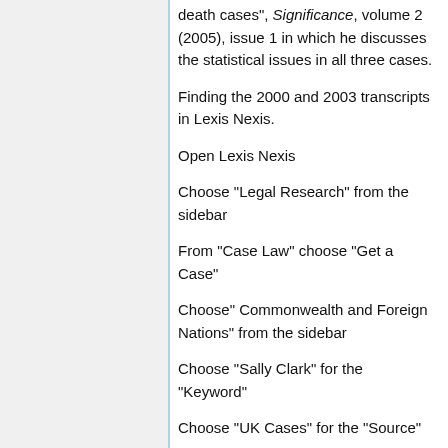death cases", Significance, volume 2 (2005), issue 1 in which he discusses the statistical issues in all three cases.
Finding the 2000 and 2003 transcripts in Lexis Nexis.
Open Lexis Nexis
Choose "Legal Research" from the sidebar
From "Case Law" choose "Get a Case"
Choose" Commonwealth and Foreign Nations" from the sidebar
Choose "Sally Clark" for the "Keyword"
Choose "UK Cases" for the "Source"
Choose "Previous five years" for the "Date."
The two "r v Clarks" are the appeals.
DISCUSSION QUESTIONS: